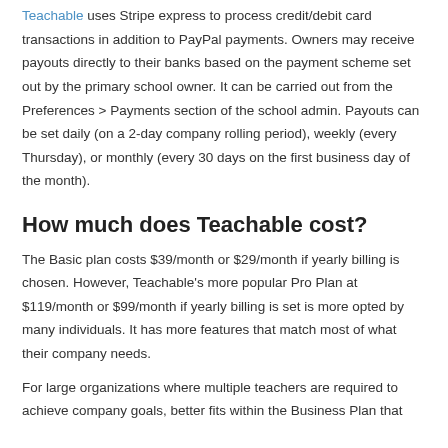Teachable uses Stripe express to process credit/debit card transactions in addition to PayPal payments. Owners may receive payouts directly to their banks based on the payment scheme set out by the primary school owner. It can be carried out from the Preferences > Payments section of the school admin. Payouts can be set daily (on a 2-day company rolling period), weekly (every Thursday), or monthly (every 30 days on the first business day of the month).
How much does Teachable cost?
The Basic plan costs $39/month or $29/month if yearly billing is chosen. However, Teachable’s more popular Pro Plan at $119/month or $99/month if yearly billing is set is more opted by many individuals. It has more features that match most of what their company needs.
For large organizations where multiple teachers are required to achieve company goals, better fits within the Business Plan that